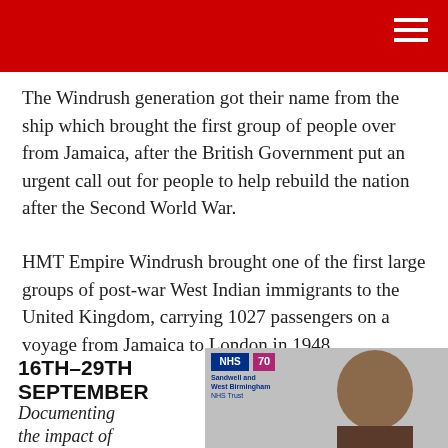The Windrush generation got their name from the ship which brought the first group of people over from Jamaica, after the British Government put an urgent call out for people to help rebuild the nation after the Second World War.
HMT Empire Windrush brought one of the first large groups of post-war West Indian immigrants to the United Kingdom, carrying 1027 passengers on a voyage from Jamaica to London in 1948.
16TH–29TH SEPTEMBER
Documenting the impact of
[Figure (photo): Photo of a woman smiling, with NHS Sandwell and West Birmingham NHS Trust logo and NHS 70th anniversary badge visible in the top left corner of the image.]